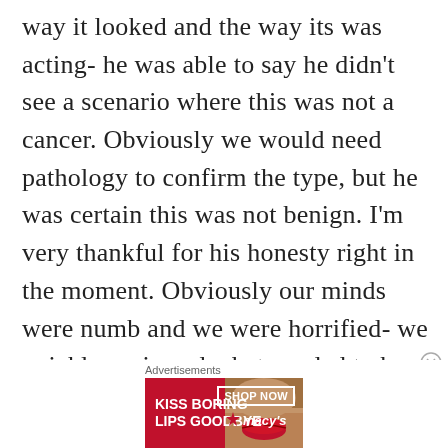way it looked and the way its was acting- he was able to say he didn't see a scenario where this was not a cancer. Obviously we would need pathology to confirm the type, but he was certain this was not benign. I'm very thankful for his honesty right in the moment. Obviously our minds were numb and we were horrified- we quickly reviewed what needed to be scheudled next, the nurse assured she would work on it and call me- I wanted out of there. I told a few people I needed to leave, and Camden and I
[Figure (photo): Advertisement banner for Macy's lipstick product. Red background with text 'KISS BORING LIPS GOODBYE', image of a woman with red lips in center, and 'SHOP NOW' button with Macy's star logo on the right.]